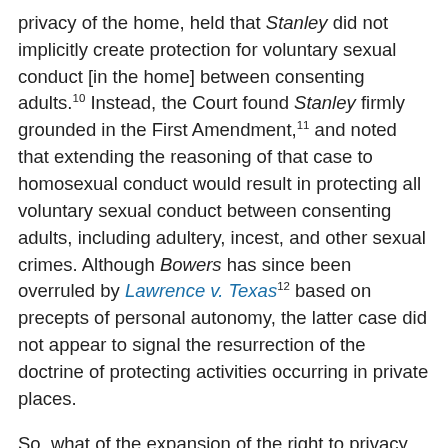privacy of the home, held that Stanley did not implicitly create protection for voluntary sexual conduct [in the home] between consenting adults.10 Instead, the Court found Stanley firmly grounded in the First Amendment,11 and noted that extending the reasoning of that case to homosexual conduct would result in protecting all voluntary sexual conduct between consenting adults, including adultery, incest, and other sexual crimes. Although Bowers has since been overruled by Lawrence v. Texas12 based on precepts of personal autonomy, the latter case did not appear to signal the resurrection of the doctrine of protecting activities occurring in private places.
So, what of the expansion of the right to privacy under the rubric of personal autonomy? The Court speaking in Roe in 1973 made it clear that, despite the importance of its decision, the protection of personal autonomy was limited to a relatively narrow range of behavior. The Constitution